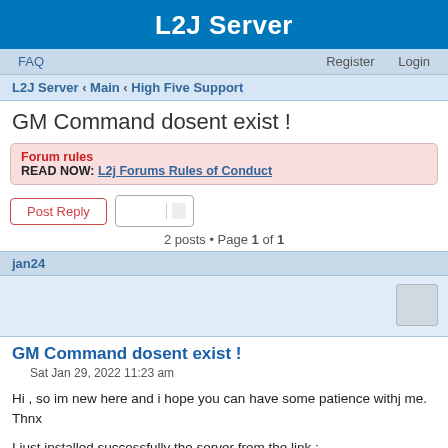L2J Server
FAQ    Register    Login
L2J Server › Main › High Five Support
GM Command dosent exist !
Forum rules
READ NOW: L2j Forums Rules of Conduct
Post Reply
2 posts • Page 1 of 1
jan24
GM Command dosent exist !
Sat Jan 29, 2022 11:23 am
Hi , so im new here and i hope you can have some patience withj me. Thnx
I just installed successfully the server from the link :
https://www.youtube.com/watch?v=fdlW6Xw ... el=Maneco2